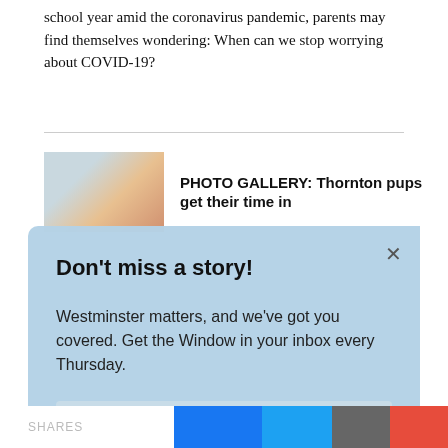school year amid the coronavirus pandemic, parents may find themselves wondering: When can we stop worrying about COVID-19?
[Figure (photo): Small thumbnail image of a puppy, partly visible at top left]
PHOTO GALLERY: Thornton pups get their time in
Don't miss a story!
Westminster matters, and we've got you covered. Get the Window in your inbox every Thursday.
Enter your email
Sign up
SHARES